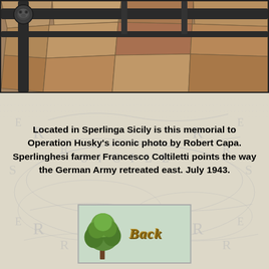[Figure (photo): Close-up photo of a memorial structure showing dark metal/iron gate or fence with a decorative lion-head medallion at upper left corner, mounted against a stone wall with irregular tan/brown flagstones.]
Located in Sperlinga Sicily is this memorial to Operation Husky's iconic photo by Robert Capa. Sperlinghesi farmer Francesco Coltiletti points the way the German Army retreated east. July 1943.
[Figure (illustration): Back button graphic showing a green tree illustration on the left and stylized gold metallic text reading 'Back' on the right, inside a light green-bordered rectangle.]